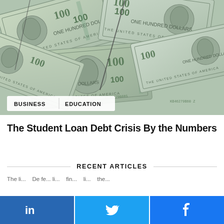[Figure (photo): Overhead photo of overlapping $100 US dollar bills spread across the frame in a grid-like pattern, showing Benjamin Franklin portraits and bill details in green-grey tones.]
The Student Loan Debt Crisis By the Numbers
RECENT ARTICLES
The li... De fe... li... with li... fin... li... the... te...